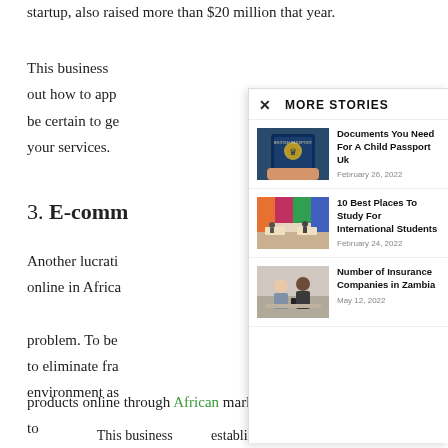startup, also raised more than $20 million that year.
This business ... out how to app... be certain to ge... your services.
3. E-comm...
Another lucrati... online in Africa... problem. To be... to eliminate fra... environment as...
products online through African marketplaces without the need to
... This business ... established ...
MORE STORIES
[Figure (photo): Hand holding a British passport]
Documents You Need For A Child Passport Uk
February 26, 2022
[Figure (photo): Students studying in a colorful library space]
10 Best Places To Study For International Students
February 24, 2022
[Figure (photo): Two people in a business meeting]
Number of Insurance Companies in Zambia
May 12, 2022